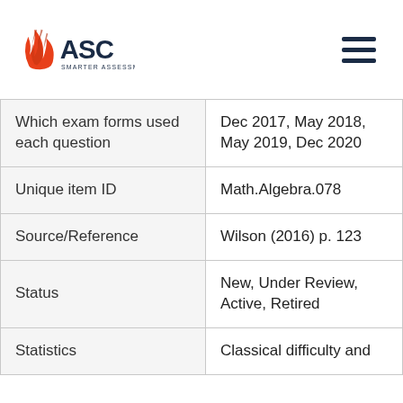[Figure (logo): ASC Smarter Assessment logo with red flame/leaf icon and dark blue text]
| Which exam forms used each question | Dec 2017, May 2018, May 2019, Dec 2020 |
| Unique item ID | Math.Algebra.078 |
| Source/Reference | Wilson (2016) p. 123 |
| Status | New, Under Review, Active, Retired |
| Statistics | Classical difficulty and |